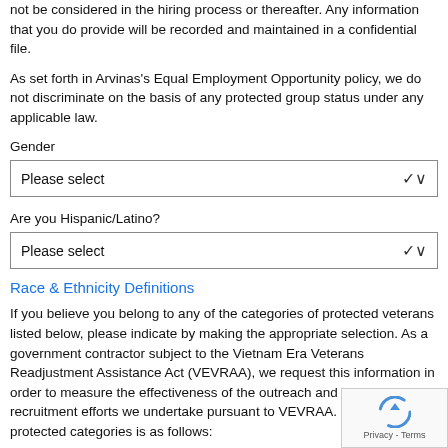not be considered in the hiring process or thereafter. Any information that you do provide will be recorded and maintained in a confidential file.
As set forth in Arvinas's Equal Employment Opportunity policy, we do not discriminate on the basis of any protected group status under any applicable law.
Gender
Please select
Are you Hispanic/Latino?
Please select
Race & Ethnicity Definitions
If you believe you belong to any of the categories of protected veterans listed below, please indicate by making the appropriate selection. As a government contractor subject to the Vietnam Era Veterans Readjustment Assistance Act (VEVRAA), we request this information in order to measure the effectiveness of the outreach and positive recruitment efforts we undertake pursuant to VEVRAA. Classification of protected categories is as follows:
A "disabled veteran" is one of the following: a veteran of the U.S. military, ground, naval or air service who is entitled to